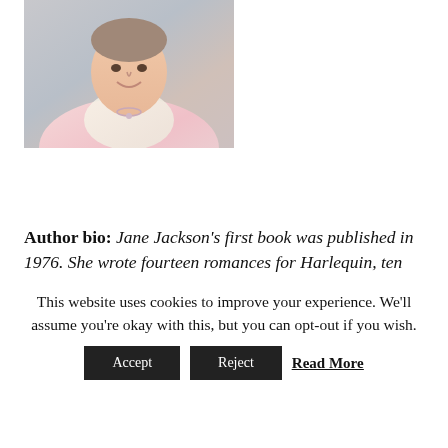[Figure (photo): Portrait photo of a woman smiling, wearing a pink outfit with a light scarf and necklace, photographed against a light background.]
Author bio:  Jane Jackson's first book was published in 1976. She wrote fourteen romances for Harlequin, ten romantic historical novels, and will soon complete the eighth of her Polvellan Cornish Mysteries writing as Rachel Ennis. She has been shortlisted for five major
This website uses cookies to improve your experience. We'll assume you're okay with this, but you can opt-out if you wish.
Accept   Reject   Read More